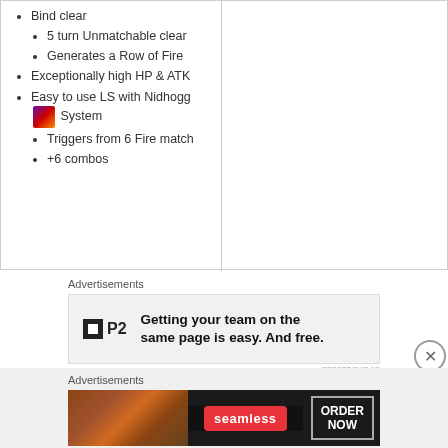Bind clear
5 turn Unmatchable clear
Generates a Row of Fire
Exceptionally high HP & ATK
Easy to use LS with Nidhogg System
Triggers from 6 Fire match
+6 combos
Advertisements
[Figure (screenshot): P2 advertisement: Getting your team on the same page is easy. And free.]
REPORT THIS AD
Advertisements
[Figure (screenshot): Seamless advertisement: ORDER NOW with pizza image]